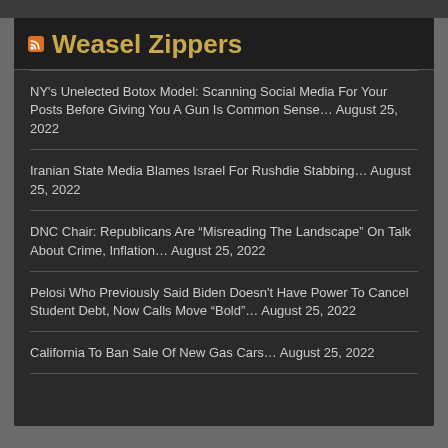Weasel Zippers
NY's Unelected Botox Model: Scanning Social Media For Your Posts Before Giving You A Gun Is Common Sense… August 25, 2022
Iranian State Media Blames Israel For Rushdie Stabbing… August 25, 2022
DNC Chair: Republicans Are “Misreading The Landscape” On Talk About Crime, Inflation… August 25, 2022
Pelosi Who Previously Said Biden Doesn't Have Power To Cancel Student Debt, Now Calls Move “Bold”… August 25, 2022
California To Ban Sale Of New Gas Cars… August 25, 2022